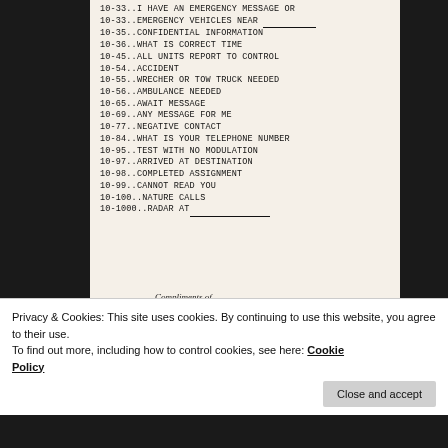10-33..I HAVE AN EMERGENCY MESSAGE OR
10-33..EMERGENCY VEHICLES NEAR ______
10-35..CONFIDENTIAL INFORMATION
10-36..WHAT IS CORRECT TIME
10-45..ALL UNITS REPORT TO CONTROL
10-54..ACCIDENT
10-55..WRECHER OR TOW TRUCK NEEDED
10-56..AMBULANCE NEEDED
10-65..AWAIT MESSAGE
10-69..ANY MESSAGE FOR ME
10-77..NEGATIVE CONTACT
10-84..WHAT IS YOUR TELEPHONE NUMBER
10-95..TEST WITH NO MODULATION
10-97..ARRIVED AT DESTINATION
10-98..COMPLETED ASSIGNMENT
10-99..CANNOT READ YOU
10-100..NATURE CALLS
10-1000..RADAR AT_______________
Compliments of
[Figure (logo): Golden logo in dark rounded rectangle with cursive text]
[Figure (illustration): Black and white illustration of a bug/insect]
P. O. BOX 171 * 708 FRONT STREET
Privacy & Cookies: This site uses cookies. By continuing to use this website, you agree to their use.
To find out more, including how to control cookies, see here: Cookie Policy
Close and accept